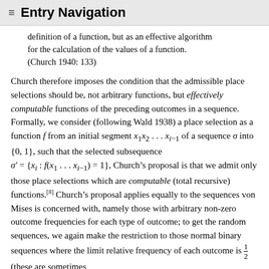≡  Entry Navigation
definition of a function, but as an effective algorithm for the calculation of the values of a function. (Church 1940: 133)
Church therefore imposes the condition that the admissible place selections should be, not arbitrary functions, but effectively computable functions of the preceding outcomes in a sequence. Formally, we consider (following Wald 1938) a place selection as a function f from an initial segment x₁x₂ . . . xᵢ₋₁ of a sequence σ into {0, 1}, such that the selected subsequence σ′ = {xᵢ : f(x₁ . . . xᵢ₋₁) = 1}, Church's proposal is that we admit only those place selections which are computable (total recursive) functions.[8] Church's proposal applies equally to the sequences von Mises is concerned with, namely those with arbitrary non-zero outcome frequencies for each type of outcome; to get the random sequences, we again make the restriction to those normal binary sequences where the limit relative frequency of each outcome is 1/2 (these are sometimes